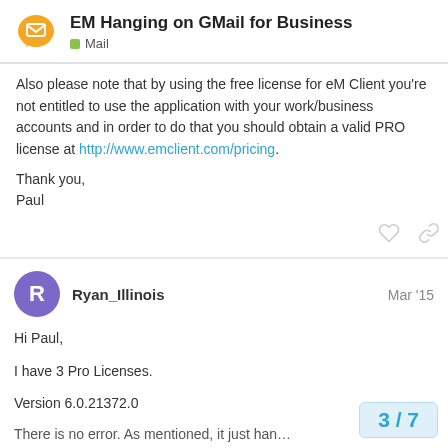EM Hanging on GMail for Business — Mail
Also please note that by using the free license for eM Client you're not entitled to use the application with your work/business accounts and in order to do that you should obtain a valid PRO license at http://www.emclient.com/pricing.
Thank you,
Paul
Ryan_Illinois   Mar '15
Hi Paul,
I have 3 Pro Licenses.
Version 6.0.21372.0
There is no error. As mentioned, it just han…